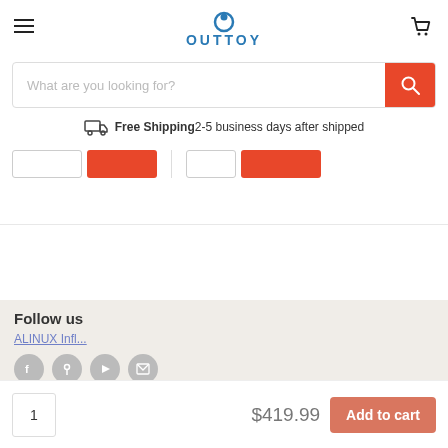OUTTOY
What are you looking for?
Free Shipping 2-5 business days after shipped
ALINUX Infl...
Follow us
$419.99
Add to cart
Site Map